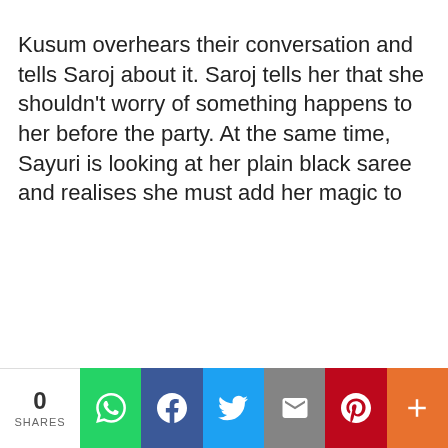Kusum overhears their conversation and tells Saroj about it. Saroj tells her that she shouldn't worry of something happens to her before the party. At the same time, Sayuri is looking at her plain black saree and realises she must add her magic to
0 SHARES | WhatsApp | Facebook | Twitter | Email | Pinterest | More